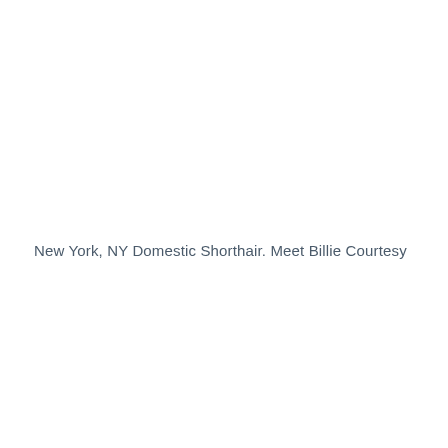New York, NY Domestic Shorthair. Meet Billie Courtesy